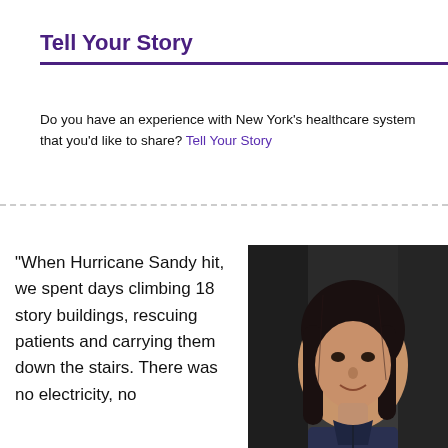Tell Your Story
Do you have an experience with New York’s healthcare system that you’d like to share? Tell Your Story
"When Hurricane Sandy hit, we spent days climbing 18 story buildings, rescuing patients and carrying them down the stairs. There was no electricity, no
[Figure (photo): Portrait photo of a woman with dark shoulder-length hair, wearing a dark navy shirt, smiling slightly, photographed outdoors with a blurred background.]